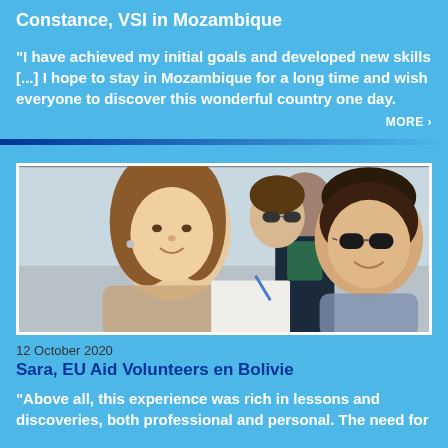Constance, VSI in Mozambique
"I have achieved my initial goals and developed new skills [...] I hope to stay in Mozambique for a long time and wish everyone to discover this wonderful country one day.
MORE >
[Figure (photo): Selfie photo of three women smiling outdoors, one with long brown hair in foreground, two others with sunglasses in background]
12 October 2020
Sara, EU Aid Volunteers en Bolivie
"Above all, this experience was rich in lessons and discoveries, both professional and personal. The need for